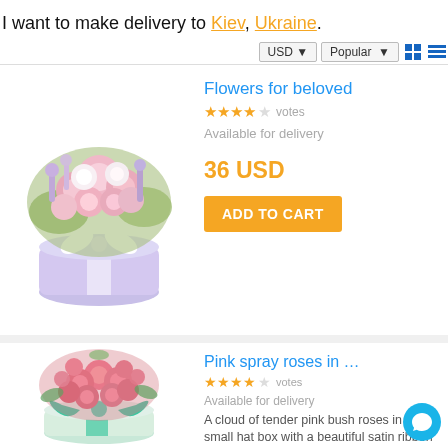I want to make delivery to Kiev, Ukraine.
[Figure (screenshot): USD currency selector dropdown and Popular sort dropdown, with grid/list view icons]
[Figure (photo): Flower bouquet in a round hat box with pink and white flowers, wrapped in ribbon]
Flowers for beloved
★★★★☆ votes
Available for delivery
36 USD
ADD TO CART
[Figure (photo): Pink spray roses in a round hat box with teal/green ribbon]
Pink spray roses in …
★★★★☆ votes
Available for delivery
A cloud of tender pink bush roses in a small hat box with a beautiful satin ribbon is the perfect gift for a girl.